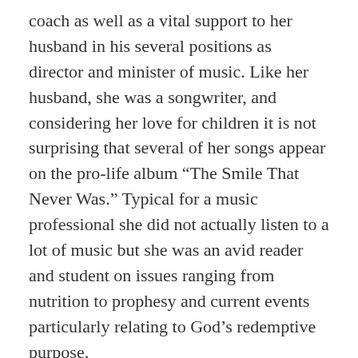coach as well as a vital support to her husband in his several positions as director and minister of music. Like her husband, she was a songwriter, and considering her love for children it is not surprising that several of her songs appear on the pro-life album “The Smile That Never Was.” Typical for a music professional she did not actually listen to a lot of music but she was an avid reader and student on issues ranging from nutrition to prophesy and current events particularly relating to God’s redemptive purpose.
She is survived by her husband Peter, her son Christopher John Merio, grandchildren Annika and Jeremy, her sisters Gloria Merriman and